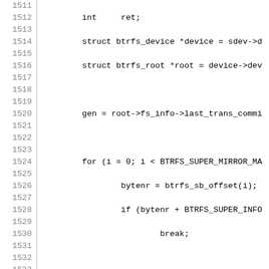[Figure (screenshot): Source code listing (C language) showing lines 1511-1541 of a btrfs filesystem scrub implementation. Lines show variable declarations, a for loop iterating over BTRFS_SUPER_MIRROR mirrors, scrub_page calls, wait_event, return statements, closing brace, a comment block, and start of scrub_workers_g function.]